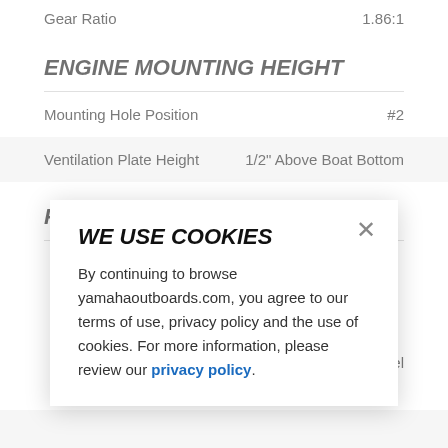| Gear Ratio | 1.86:1 |
ENGINE MOUNTING HEIGHT
| Mounting Hole Position | #2 |
| Ventilation Plate Height | 1/2" Above Boat Bottom |
PROPELLER(S)
WE USE COOKIES

By continuing to browse yamahaoutboards.com, you agree to our terms of use, privacy policy and the use of cookies. For more information, please review our privacy policy.